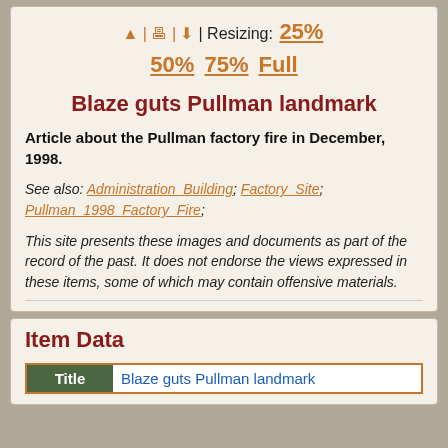| | | Resizing: 25% 50% 75% Full
Blaze guts Pullman landmark
Article about the Pullman factory fire in December, 1998.
See also: Administration_Building; Factory_Site; Pullman_1998_Factory_Fire;
This site presents these images and documents as part of the record of the past. It does not endorse the views expressed in these items, some of which may contain offensive materials.
Item Data
| Title |  |
| --- | --- |
| Title | Blaze guts Pullman landmark |